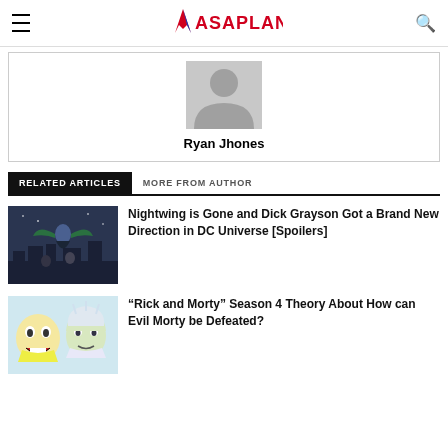ASAPLAND
[Figure (illustration): Author avatar placeholder — gray silhouette person icon]
Ryan Jhones
RELATED ARTICLES
MORE FROM AUTHOR
[Figure (photo): Comic book scene — Nightwing / Dick Grayson character in dark blue costume flying above city at night, with other characters below]
Nightwing is Gone and Dick Grayson Got a Brand New Direction in DC Universe [Spoilers]
[Figure (illustration): Animated scene from Rick and Morty — Morty with mouth open in shock on the left, Rick (old man) on the right, colorful cartoon style]
“Rick and Morty” Season 4 Theory About How can Evil Morty be Defeated?